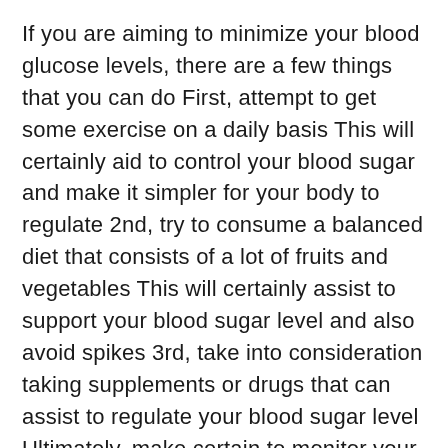If you are aiming to minimize your blood glucose levels, there are a few things that you can do First, attempt to get some exercise on a daily basis This will certainly aid to control your blood sugar and make it simpler for your body to regulate 2nd, try to consume a balanced diet that consists of a lot of fruits and vegetables This will certainly assist to support your blood sugar level and also avoid spikes 3rd, take into consideration taking supplements or drugs that can assist to regulate your blood sugar level Ultimately, make certain to monitor your blood glucose degrees frequently to ensure that you can change your strategy as needed